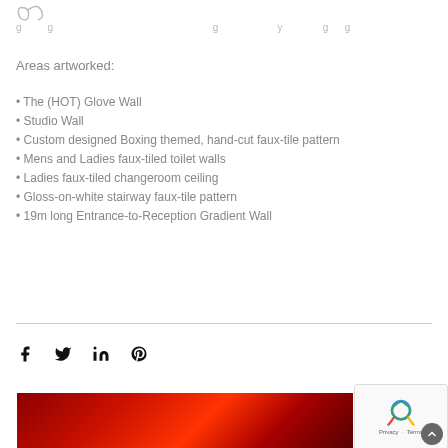[Figure (logo): Partial cursive/script logo in grey]
g g                                           g          y        g g
Areas artworked:
• The (HOT) Glove Wall
• Studio Wall
• Custom designed Boxing themed, hand-cut faux-tile pattern
• Mens and Ladies faux-tiled toilet walls
• Ladies faux-tiled changeroom ceiling
• Gloss-on-white stairway faux-tile pattern
• 19m long Entrance-to-Reception Gradient Wall
[Figure (other): Social media share icons: Facebook (f), Twitter (bird), LinkedIn (in), Pinterest (P)]
[Figure (photo): Red-toned boxing gym interior photo, partially visible at bottom]
[Figure (other): reCAPTCHA widget with Privacy and Terms links]